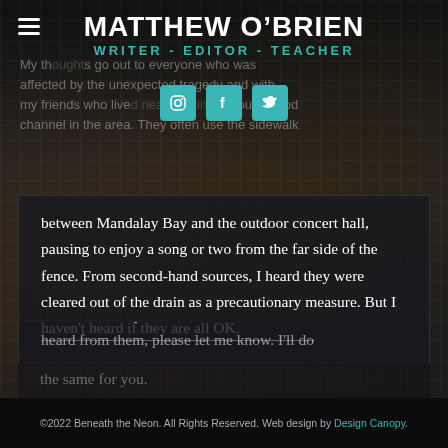MATTHEW O'BRIEN
WRITER - EDITOR - TEACHER
My th... affected by the unexpected tragedy and with my friends who live... rground flood channel in the area. They often use the sidewalk
between Mandalay Bay and the outdoor concert hall, pausing to enjoy a song or two from the far side of the fence. From second-hand sources, I heard they were cleared out of the drain as a precautionary measure. But I haven't heard if they are all OK.

If you know any of these fine folks and you've heard from them, please let me know. I'll do the same for you.
©2022 Beneath the Neon. All Rights Reserved. Web design by Design Canopy.